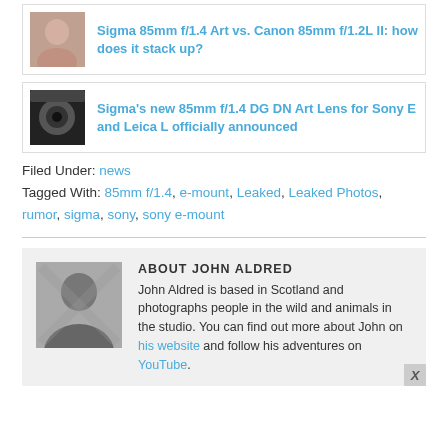[Figure (photo): Thumbnail image of a woman, related to Sigma 85mm f/1.4 Art vs Canon 85mm f/1.2L II article]
Sigma 85mm f/1.4 Art vs. Canon 85mm f/1.2L II: how does it stack up?
[Figure (photo): Thumbnail image of a camera lens, related to Sigma 85mm f/1.4 DG DN Art Lens announcement]
Sigma's new 85mm f/1.4 DG DN Art Lens for Sony E and Leica L officially announced
Filed Under: news
Tagged With: 85mm f/1.4, e-mount, Leaked, Leaked Photos, rumor, sigma, sony, sony e-mount
ABOUT JOHN ALDRED
[Figure (photo): Black and white portrait photo of John Aldred]
John Aldred is based in Scotland and photographs people in the wild and animals in the studio. You can find out more about John on his website and follow his adventures on YouTube.